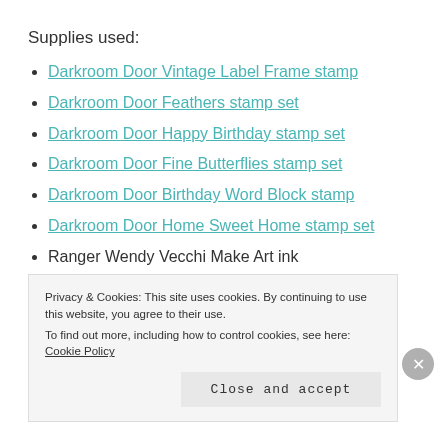Supplies used:
Darkroom Door Vintage Label Frame stamp
Darkroom Door Feathers stamp set
Darkroom Door Happy Birthday stamp set
Darkroom Door Fine Butterflies stamp set
Darkroom Door Birthday Word Block stamp
Darkroom Door Home Sweet Home stamp set
Ranger Wendy Vecchi Make Art ink
Dylusions Shimmer Sprays
Distress & Distress Oxide Inks
Ranger Archival black ink
Privacy & Cookies: This site uses cookies. By continuing to use this website, you agree to their use. To find out more, including how to control cookies, see here: Cookie Policy